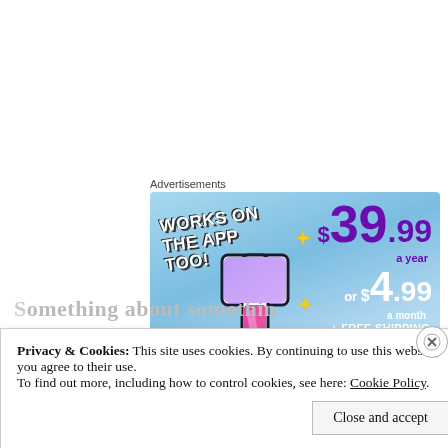Advertisements
[Figure (illustration): Tumblr advertisement banner with sky blue background. Shows 'WORKS ON THE APP TOO!' text in white on the left, a Tumblr 't' logo in pink/purple/white in the center, yellow sparkle stars, and pricing text '$39.99 a year or $4.99 a month + FREE SHIPPING' on the right in purple and white.]
S...
Privacy & Cookies: This site uses cookies. By continuing to use this website, you agree to their use.
To find out more, including how to control cookies, see here: Cookie Policy
Close and accept